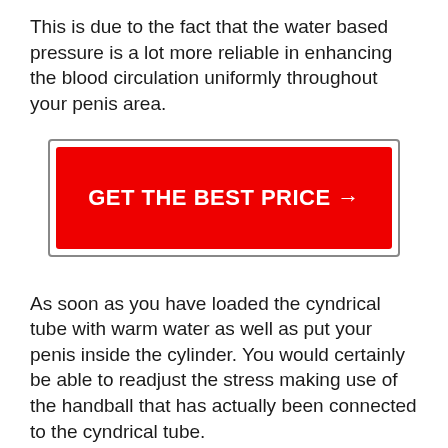This is due to the fact that the water based pressure is a lot more reliable in enhancing the blood circulation uniformly throughout your penis area.
[Figure (other): Red call-to-action button with white bold text reading 'GET THE BEST PRICE →', surrounded by a grey border]
As soon as you have loaded the cyndrical tube with warm water as well as put your penis inside the cylinder. You would certainly be able to readjust the stress making use of the handball that has actually been connected to the cyndrical tube.
The comfort pad that has been connected gives wonderful assistance when you are